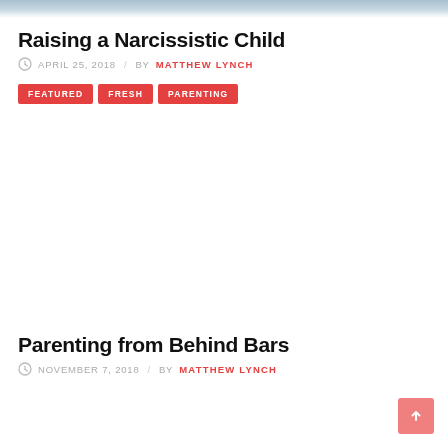[Figure (photo): Top portion of a photo, partially cropped, showing a child-related scene with blue/grey tones]
Raising a Narcissistic Child
APRIL 25, 2018 / BY MATTHEW LYNCH
FEATURED
FRESH
PARENTING
[Figure (photo): Large image area (mostly white/blank) for second article]
Parenting from Behind Bars
NOVEMBER 7, 2018 / BY MATTHEW LYNCH